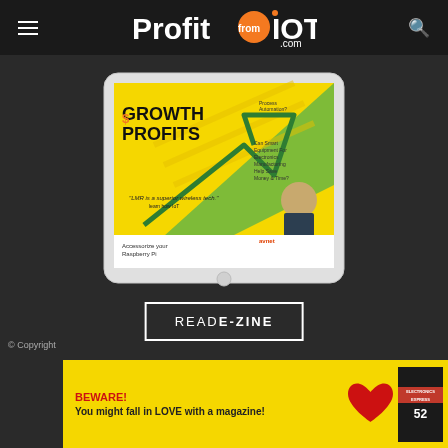ProfitfromIOT.com
[Figure (screenshot): Tablet device displaying ProfitFromIOT magazine cover with 'GROWTH & PROFITS' headline on yellow background with green arrow graphic]
READ E-ZINE
© Copyright
[Figure (photo): Advertisement banner with yellow background: 'BEWARE! You might fall in LOVE with a magazine!' with red heart image and Electronics Express magazine]